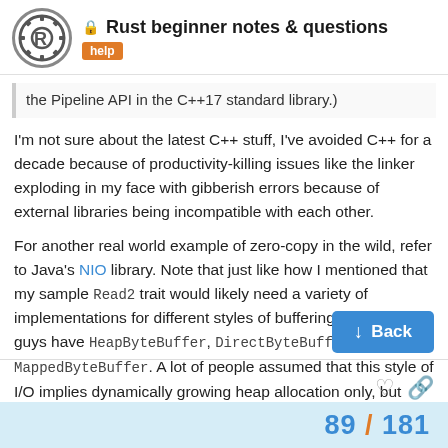Rust beginner notes & questions — help
the Pipeline API in the C++17 standard library.)
I'm not sure about the latest C++ stuff, I've avoided C++ for a decade because of productivity-killing issues like the linker exploding in my face with gibberish errors because of external libraries being incompatible with each other.
For another real world example of zero-copy in the wild, refer to Java's NIO library. Note that just like how I mentioned that my sample Read2 trait would likely need a variety of implementations for different styles of buffering, the Java guys have HeapByteBuffer, DirectByteBuffer, and MappedByteBuffer. A lot of people assumed that this style of I/O implies dynamically growing heap allocation only, but that's not a constraint at all.
89 / 181